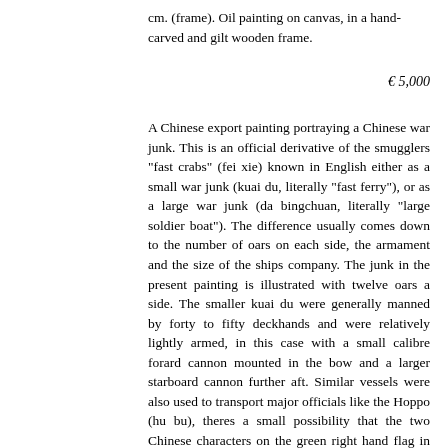cm. (frame). Oil painting on canvas, in a hand-carved and gilt wooden frame.
€ 5,000
A Chinese export painting portraying a Chinese war junk. This is an official derivative of the smugglers "fast crabs" (fei xie) known in English either as a small war junk (kuai du, literally "fast ferry"), or as a large war junk (da bingchuan, literally "large soldier boat"). The difference usually comes down to the number of oars on each side, the armament and the size of the ships company. The junk in the present painting is illustrated with twelve oars a side. The smaller kuai du were generally manned by forty to fifty deckhands and were relatively lightly armed, in this case with a small calibre forard cannon mounted in the bow and a larger starboard cannon further aft. Similar vessels were also used to transport major officials like the Hoppo (hu bu), theres a small possibility that the two Chinese characters on the green right hand flag in the painting are such officials. As to location, the left background seems to